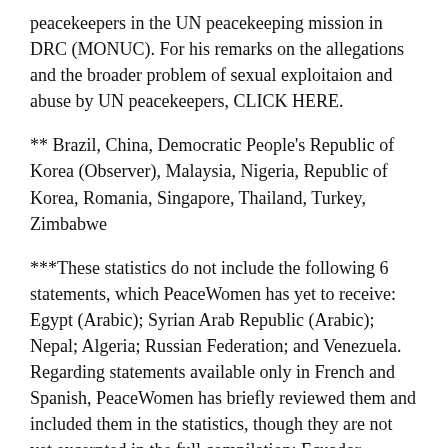peacekeepers in the UN peacekeeping mission in DRC (MONUC). For his remarks on the allegations and the broader problem of sexual exploitaion and abuse by UN peacekeepers, CLICK HERE.
** Brazil, China, Democratic People's Republic of Korea (Observer), Malaysia, Nigeria, Republic of Korea, Romania, Singapore, Thailand, Turkey, Zimbabwe
***These statistics do not include the following 6 statements, which PeaceWomen has yet to receive: Egypt (Arabic); Syrian Arab Republic (Arabic); Nepal; Algeria; Russian Federation; and Venezuela. Regarding statements available only in French and Spanish, PeaceWomen has briefly reviewed them and included them in the statistics, though they are not yet excerpted in the full compilation: Ecuador (includes gender references); El Salvador (includes gender references); Guinea (includes gender references); and Peru (includes gender references). PeaceWomen plans to carry out a more detailed review of these statements shortly.